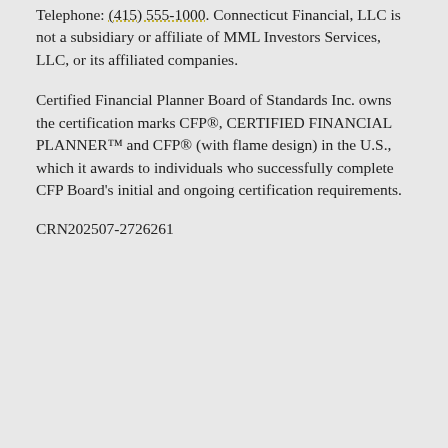Telephone: (415) 555-1000. Connecticut Financial, LLC is not a subsidiary or affiliate of MML Investors Services, LLC, or its affiliated companies.
Certified Financial Planner Board of Standards Inc. owns the certification marks CFP®, CERTIFIED FINANCIAL PLANNER™ and CFP® (with flame design) in the U.S., which it awards to individuals who successfully complete CFP Board's initial and ongoing certification requirements.
CRN202507-2726261